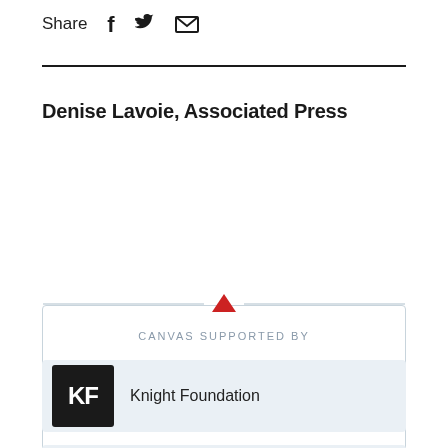Share
Denise Lavoie, Associated Press
CANVAS SUPPORTED BY
[Figure (logo): Knight Foundation logo — black square with white KF letters]
Knight Foundation
[Figure (logo): Art Works / National Endowment for the Arts logo]
Art Works / National Endowment for the